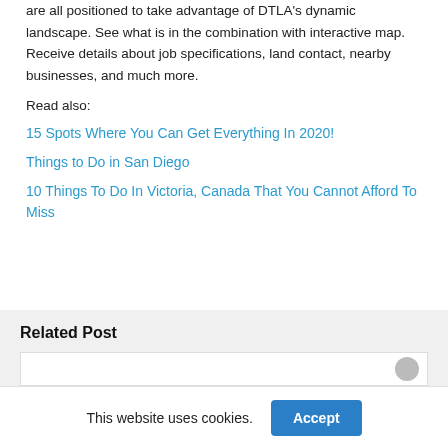are all positioned to take advantage of DTLA's dynamic landscape. See what is in the combination with interactive map. Receive details about job specifications, land contact, nearby businesses, and much more.
Read also:
15 Spots Where You Can Get Everything In 2020!
Things to Do in San Diego
10 Things To Do In Victoria, Canada That You Cannot Afford To Miss
Related Post
[Figure (other): Related post card with circle avatar placeholder]
This website uses cookies.